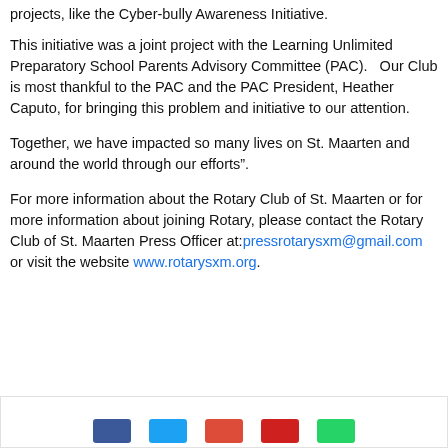projects, like the Cyber-bully Awareness Initiative.
This initiative was a joint project with the Learning Unlimited Preparatory School Parents Advisory Committee (PAC).   Our Club is most thankful to the PAC and the PAC President, Heather Caputo, for bringing this problem and initiative to our attention.
Together, we have impacted so many lives on St. Maarten and around the world through our efforts”.
For more information about the Rotary Club of St. Maarten or for more information about joining Rotary, please contact the Rotary Club of St. Maarten Press Officer at:pressrotarysxm@gmail.com or visit the website www.rotarysxm.org.
[Figure (other): Social media share buttons bar at the bottom of the page]